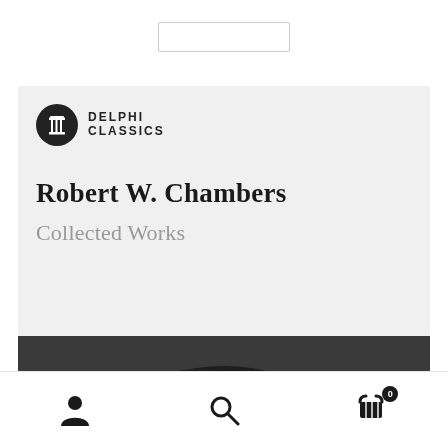[Figure (screenshot): Top bar with a rectangular search/input box]
[Figure (illustration): Delphi Classics book cover with light gray background showing logo, author name Robert W. Chambers, and subtitle Collected Works, with a black and white portrait photo below]
Robert W. Chambers
Collected Works
[Figure (photo): Black and white photograph of a person, cropped to show top of head with dark hair]
[Figure (infographic): Bottom navigation bar with user icon, search icon, and shopping cart icon with badge showing 0]